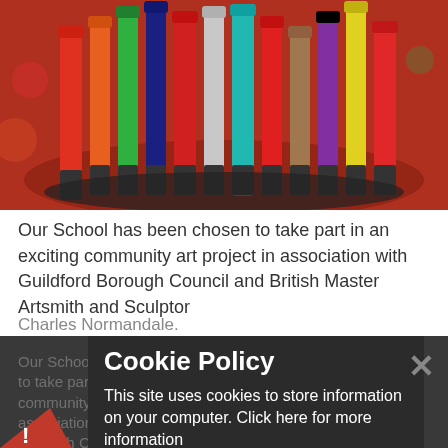[Figure (photo): Close-up photograph of colorful marker pens/felt-tip pens standing upright in a container, with a blurred red background]
Our School has been chosen to take part in an exciting community art project in association with Guildford Borough Council and British Master Artsmith and Sculptor Charles Normandale.
Our School has been chosen to take part in an exciting community art project in association with Guildford Borough Council and British Master Artsmith and Sculptor Charles Normandale. he will be working with us to create a community art tile mural which w
Cookie Policy
This site uses cookies to store information on your computer. Click here for more information
Allow Cookies
Deny Cookies